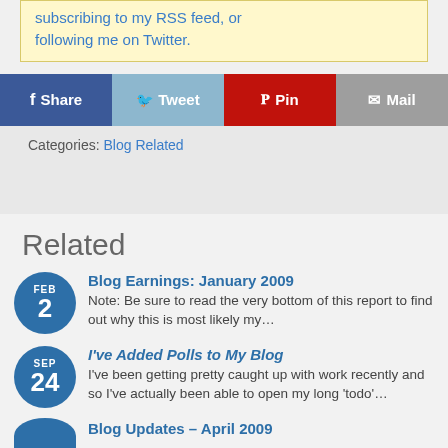subscribing to my RSS feed, or following me on Twitter.
[Figure (infographic): Social share bar with four buttons: Share (Facebook, dark blue), Tweet (Twitter, light blue), Pin (Pinterest, red), Mail (gray)]
Categories: Blog Related
Related
FEB 2 — Blog Earnings: January 2009 — Note: Be sure to read the very bottom of this report to find out why this is most likely my…
SEP 24 — I've Added Polls to My Blog — I've been getting pretty caught up with work recently and so I've actually been able to open my long 'todo'…
Blog Updates – April 2009